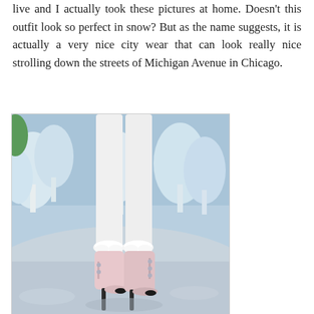live and I actually took these pictures at home. Doesn't this outfit look so perfect in snow? But as the name suggests, it is actually a very nice city wear that can look really nice strolling down the streets of Michigan Avenue in Chicago.
[Figure (photo): A virtual/3D rendered image showing the lower half of a figure wearing white leggings and pink high-heeled ankle boots with fur trim, standing in a snowy winter scene with snow-covered trees in the background.]